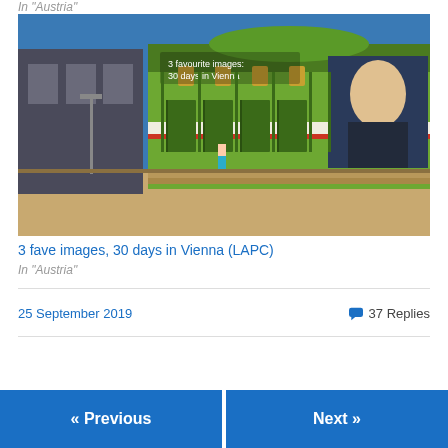In "Austria"
[Figure (photo): Photograph of a Viennese art nouveau building facade (likely Karlsplatz Stadtbahn station) with green ornamental trim and a large portrait advertisement, with text overlay reading '3 favourite images: 30 days in Vienna']
3 fave images, 30 days in Vienna (LAPC)
In "Austria"
25 September 2019
37 Replies
« Previous
Next »